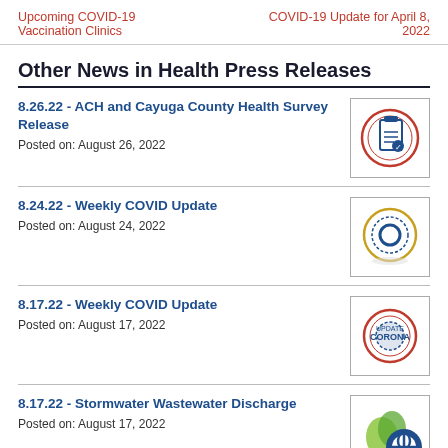Upcoming COVID-19 Vaccination Clinics | COVID-19 Update for April 8, 2022
Other News in Health Press Releases
8.26.22 - ACH and Cayuga County Health Survey Release
Posted on: August 26, 2022
8.24.22 - Weekly COVID Update
Posted on: August 24, 2022
8.17.22 - Weekly COVID Update
Posted on: August 17, 2022
8.17.22 - Stormwater Wastewater Discharge
Posted on: August 17, 2022